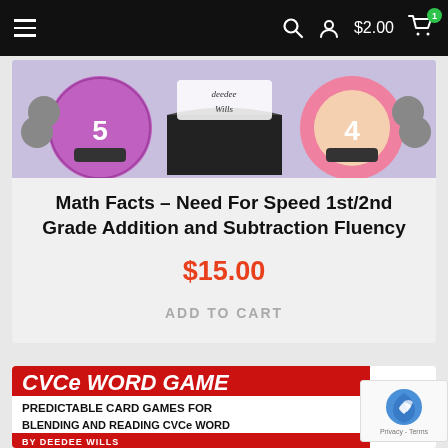≡  🔍  👤  $2.00  🛒 1
[Figure (illustration): Product thumbnail for Math Facts Need For Speed showing cartoon monster characters with numbers 5 and 4, with text 'Deedee Wills' in center]
Math Facts – Need For Speed 1st/2nd Grade Addition and Subtraction Fluency
$15.00
ADD TO CART
[Figure (illustration): CVCe Word Game product thumbnail with red banner text 'CVCe WORD GAME', subtitle 'PREDICTABLE CARD GAMES FOR BLENDING AND READING CVCe WORDS', 'BY DEEDEE WILLS']
[Figure (other): reCAPTCHA widget with logo and Privacy - Terms text]